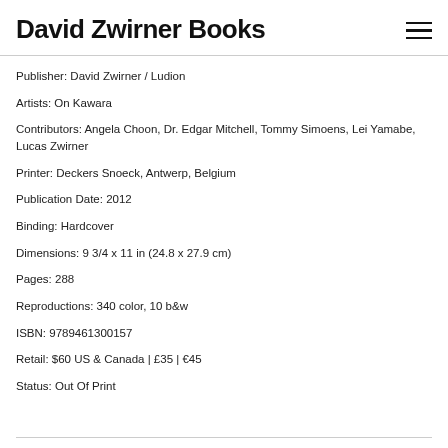David Zwirner Books
Publisher: David Zwirner / Ludion
Artists: On Kawara
Contributors: Angela Choon, Dr. Edgar Mitchell, Tommy Simoens, Lei Yamabe, Lucas Zwirner
Printer: Deckers Snoeck, Antwerp, Belgium
Publication Date: 2012
Binding: Hardcover
Dimensions: 9 3/4 x 11 in (24.8 x 27.9 cm)
Pages: 288
Reproductions: 340 color, 10 b&w
ISBN: 9789461300157
Retail: $60 US & Canada | £35 | €45
Status: Out Of Print